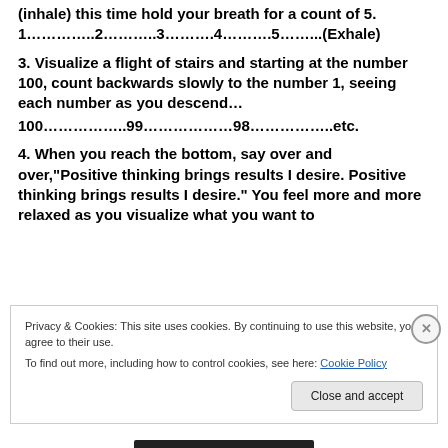(inhale) this time hold your breath for a count of 5.
1…………..2………..3……….4……….5……...(Exhale)
3. Visualize a flight of stairs and starting at the number 100, count backwards slowly to the number 1, seeing each number as you descend…
100……………..99………………98……………..etc.
4. When you reach the bottom, say over and over,"Positive thinking brings results I desire. Positive thinking brings results I desire." You feel more and more relaxed as you visualize what you want to
Privacy & Cookies: This site uses cookies. By continuing to use this website, you agree to their use.
To find out more, including how to control cookies, see here: Cookie Policy
Close and accept